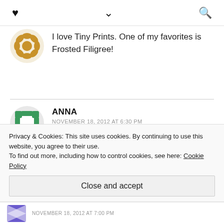♥  ∨  🔍
I love Tiny Prints. One of my favorites is Frosted Filigree!
ANNA
NOVEMBER 18, 2012 AT 6:30 PM
Love the Jolly Holly ornament card!
Privacy & Cookies: This site uses cookies. By continuing to use this website, you agree to their use.
To find out more, including how to control cookies, see here: Cookie Policy
Close and accept
NOVEMBER 18, 2012 AT 7:00 PM